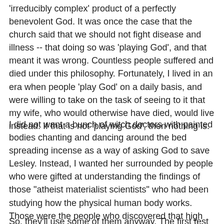'irreducibly complex' product of a perfectly benevolent God. It was once the case that the church said that we should not fight disease and illness -- that doing so was 'playing God', and that meant it was wrong. Countless people suffered and died under this philosophy. Fortunately, I lived in an era when people 'play God' on a daily basis, and were willing to take on the task of seeing to it that my wife, who would otherwise have died, would live instead. If that is not 'playing God', then nothing is.
I did not want a bunch of witch doctors with painted bodies chanting and dancing around the bed spreading incense as a way of asking God to save Lesley. Instead, I wanted her surrounded by people who were gifted at understanding the findings of those "atheist materialist scientists" who had been studying how the physical human body works. Those were the people who discovered that high temperature had a material explanation -- typically infection. Other "atheist materialist scientists" trying to discover how these bacteria live and die discovered a number of antibiotics, which they started putting into Lesley right away.
So, they'll use some of them anyway. The first test that some...